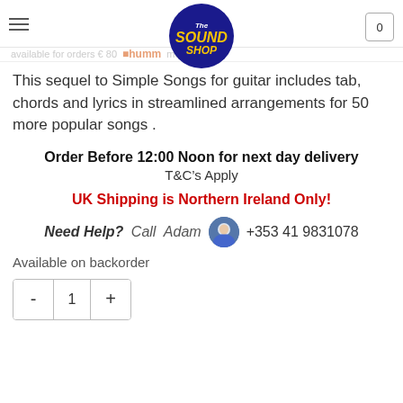The Sound Shop
available for orders € 80  humm  more i...
This sequel to Simple Songs for guitar includes tab, chords and lyrics in streamlined arrangements for 50 more popular songs .
Order Before 12:00 Noon for next day delivery
T&C’s Apply
UK Shipping is Northern Ireland Only!
Need Help? Call  Adam  +353 41 9831078
Available on backorder